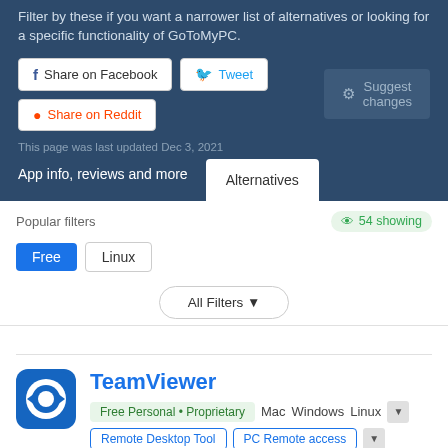Filter by these if you want a narrower list of alternatives or looking for a specific functionality of GoToMyPC.
Share on Facebook | Tweet | Share on Reddit | Suggest changes
This page was last updated Dec 3, 2021
App info, reviews and more
Alternatives
Popular filters
54 showing
Free | Linux
All Filters
TeamViewer
Free Personal • Proprietary | Mac | Windows | Linux
Remote Desktop Tool | PC Remote access